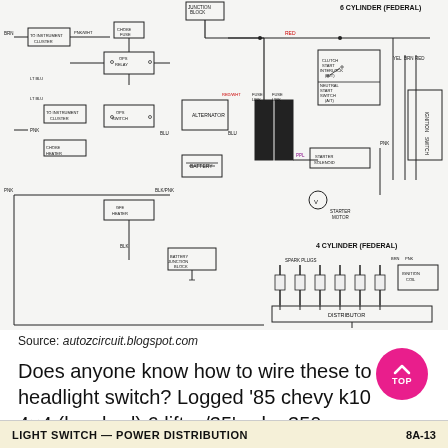[Figure (schematic): Automotive ignition/starting system wiring diagram for a 6-cylinder and 4-cylinder (Federal) configuration. Shows junction block, choke fuse, OPS relay, instrument cluster connections, battery, alternator, fuse links, clutch start interlock, neutral start switch, starter solenoid, starter motor, spark plugs, ignition coil, distributor, ignition switch, and battery junction block. Wire colors include RED, BLK, BLU, PPL, PNK, and others labeled throughout.]
Source: autozcircuit.blogspot.com
Does anyone know how to wire these to the headlight switch? Logged '85 chevy k10 4×4 (longbed) 6 lift w/35's sbc 350.
LIGHT SWITCH — POWER DISTRIBUTION   8A-13